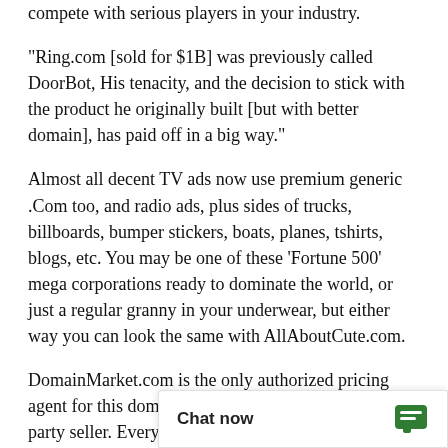compete with serious players in your industry.
"Ring.com [sold for $1B] was previously called DoorBot, His tenacity, and the decision to stick with the product he originally built [but with better domain], has paid off in a big way."
Almost all decent TV ads now use premium generic .Com too, and radio ads, plus sides of trucks, billboards, bumper stickers, boats, planes, tshirts, blogs, etc. You may be one of these 'Fortune 500' mega corporations ready to dominate the world, or just a regular granny in your underwear, but either way you can look the same with AllAboutCute.com.
DomainMarket.com is the only authorized pricing agent for this domain name, anyone else is a third party seller. Every dom completed by top wo
Chat now